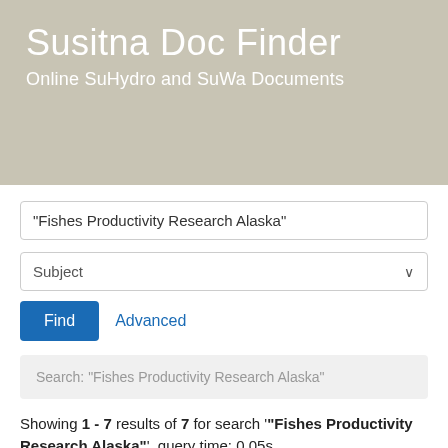Susitna Doc Finder
Online SuHydro and SuWa Documents
"Fishes Productivity Research Alaska"
Subject
Find  Advanced
Search: "Fishes Productivity Research Alaska"
Showing 1 - 7 results of 7 for search '"Fishes Productivity Research Alaska"', query time: 0.05s